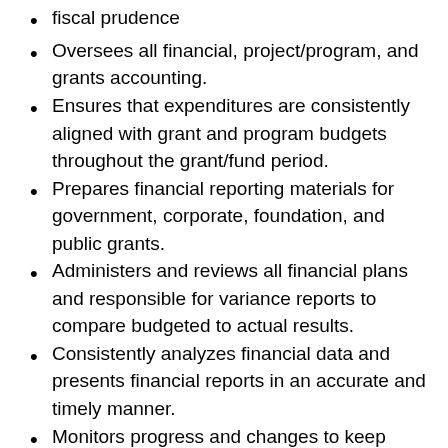fiscal prudence
Oversees all financial, project/program, and grants accounting.
Ensures that expenditures are consistently aligned with grant and program budgets throughout the grant/fund period.
Prepares financial reporting materials for government, corporate, foundation, and public grants.
Administers and reviews all financial plans and responsible for variance reports to compare budgeted to actual results.
Consistently analyzes financial data and presents financial reports in an accurate and timely manner.
Monitors progress and changes to keep senior leadership informed of financial status.
Manages organizational cash flow forecasting in partnership with program managers; continuously collaborates with program managers and accounting